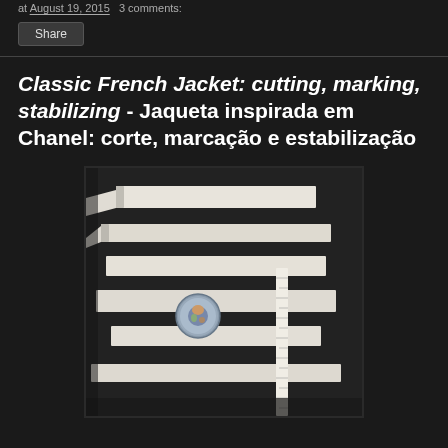at August 19, 2015   3 comments:
Share
Classic French Jacket: cutting, marking, stabilizing - Jaqueta inspirada em Chanel: corte, marcação e estabilização
[Figure (photo): Black and white striped fabric pieces laid out flat on a dark surface, with a decorative button/brooch and a measuring tape visible on top of the fabric pieces]